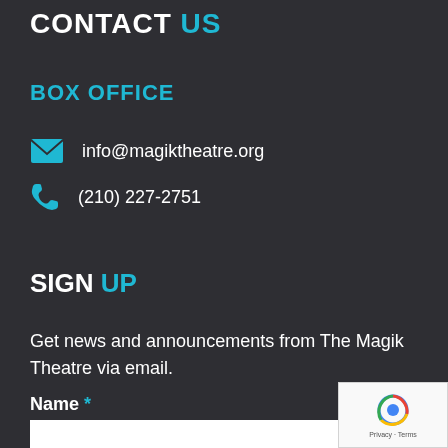CONTACT US
BOX OFFICE
info@magiktheatre.org
(210) 227-2751
SIGN UP
Get news and announcements from The Magik Theatre via email.
Name *
[Figure (other): reCAPTCHA widget with Google logo and Privacy/Terms links]